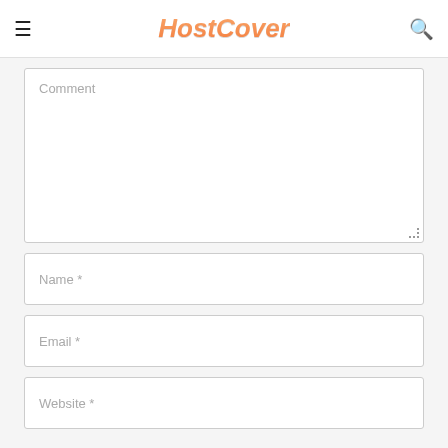[Figure (logo): HostCover logo in orange gradient italic bold font]
[Figure (screenshot): Web comment form with Comment textarea, Name field, Email field, and Website field]